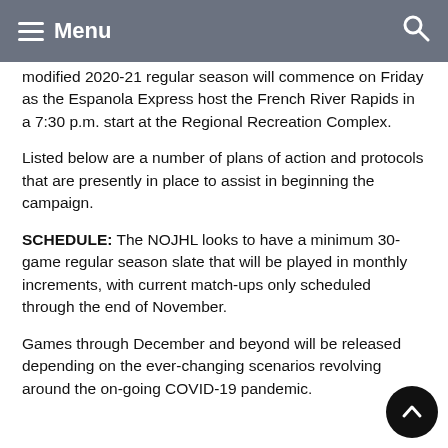Menu
modified 2020-21 regular season will commence on Friday as the Espanola Express host the French River Rapids in a 7:30 p.m. start at the Regional Recreation Complex.
Listed below are a number of plans of action and protocols that are presently in place to assist in beginning the campaign.
SCHEDULE: The NOJHL looks to have a minimum 30-game regular season slate that will be played in monthly increments, with current match-ups only scheduled through the end of November.
Games through December and beyond will be released depending on the ever-changing scenarios revolving around the on-going COVID-19 pandemic.